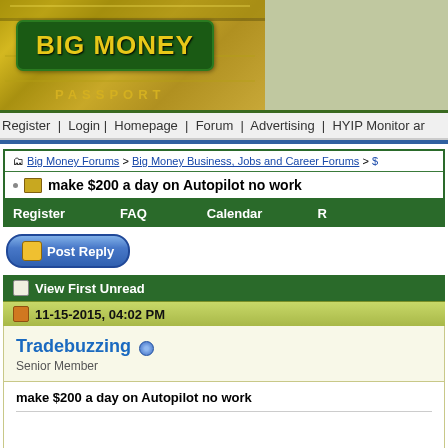[Figure (screenshot): Big Money forum website banner with gold bars background and green logo box showing 'BIG MONEY' in yellow text, with 'PASSPORT' text below]
Register | Login | Homepage | Forum | Advertising | HYIP Monitor ar
Big Money Forums > Big Money Business, Jobs and Career Forums > $
make $200 a day on Autopilot no work
Register   FAQ   Calendar   R
Post Reply
View First Unread
11-15-2015, 04:02 PM
Tradebuzzing
Senior Member
make $200 a day on Autopilot no work